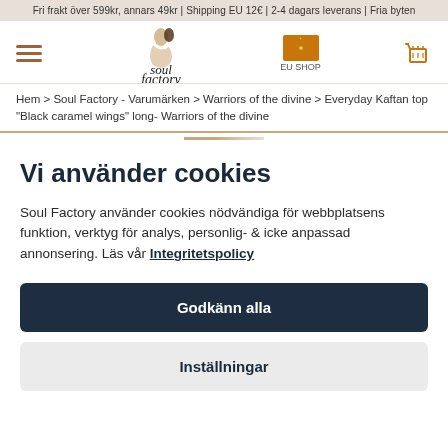Fri frakt över 599kr, annars 49kr | Shipping EU 12€ | 2-4 dagars leverans | Fria byten
[Figure (logo): Soul Factory logo with illustrated figures and text 'soul factory' in italic style, EU Shop flag icon, hamburger menu icon, and cart icon in the navigation bar]
Hem > Soul Factory - Varumärken > Warriors of the divine > Everyday Kaftan top "Black caramel wings" long- Warriors of the divine
Vi använder cookies
Soul Factory använder cookies nödvändiga för webbplatsens funktion, verktyg för analys, personlig- & icke anpassad annonsering. Läs vår Integritetspolicy
Godkänn alla
Inställningar